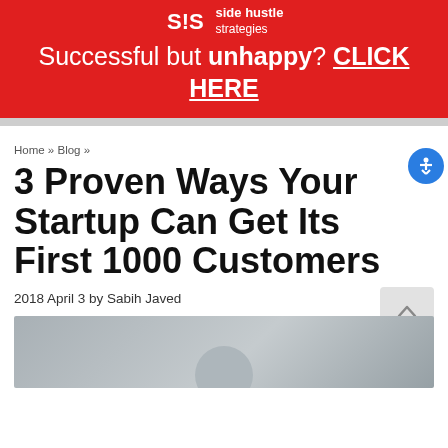side hustle strategies
Successful but unhappy? CLICK HERE
Home » Blog »
3 Proven Ways Your Startup Can Get Its First 1000 Customers
2018 April 3 by Sabih Javed
[Figure (photo): Article header image with a person silhouette or portrait on a gray gradient background]